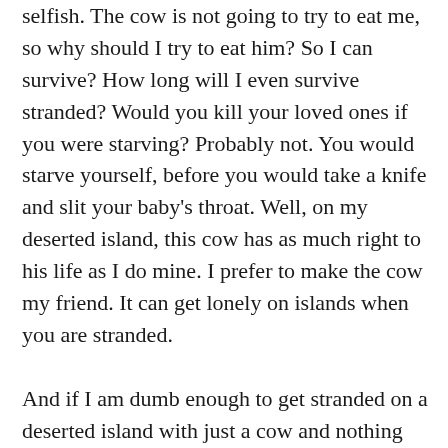selfish. The cow is not going to try to eat me, so why should I try to eat him? So I can survive? How long will I even survive stranded? Would you kill your loved ones if you were starving? Probably not. You would starve yourself, before you would take a knife and slit your baby's throat. Well, on my deserted island, this cow has as much right to his life as I do mine. I prefer to make the cow my friend. It can get lonely on islands when you are stranded.

And if I am dumb enough to get stranded on a deserted island with just a cow and nothing else to possibly survive on – maybe I don't deserve to live. Not at the